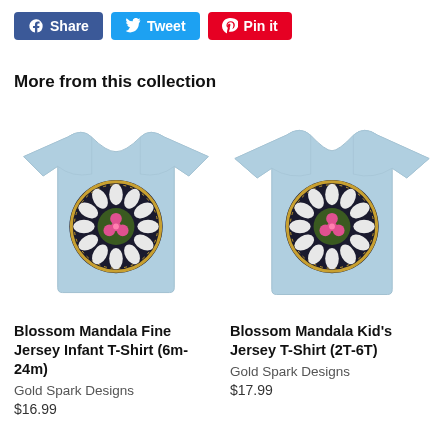[Figure (screenshot): Social sharing buttons: Facebook Share (blue), Tweet (light blue), Pin it (red)]
More from this collection
[Figure (photo): Light blue infant t-shirt with a Blossom Mandala circular design featuring pink flower and decorative pattern]
Blossom Mandala Fine Jersey Infant T-Shirt (6m-24m)
Gold Spark Designs
$16.99
[Figure (photo): Light blue kid's t-shirt with a Blossom Mandala circular design featuring pink flower and decorative pattern]
Blossom Mandala Kid's Jersey T-Shirt (2T-6T)
Gold Spark Designs
$17.99